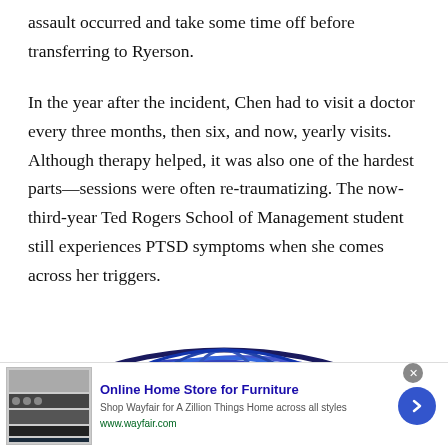assault occurred and take some time off before transferring to Ryerson.
In the year after the incident, Chen had to visit a doctor every three months, then six, and now, yearly visits. Although therapy helped, it was also one of the hardest parts—sessions were often re-traumatizing. The now-third-year Ted Rogers School of Management student still experiences PTSD symptoms when she comes across her triggers.
[Figure (logo): Partial circular globe/network logo with overlapping blue arc rings]
[Figure (screenshot): Advertisement banner: Online Home Store for Furniture - Wayfair ad with furniture image, blue arrow button, close button]